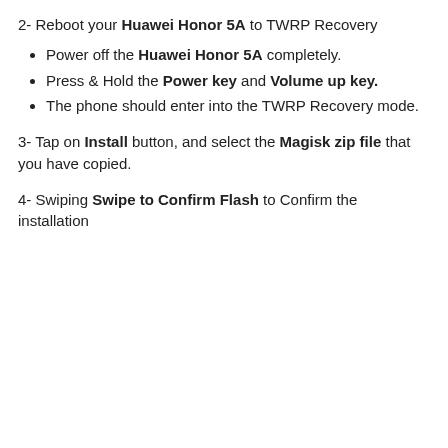2- Reboot your Huawei Honor 5A to TWRP Recovery
Power off the Huawei Honor 5A completely.
Press & Hold the Power key and Volume up key.
The phone should enter into the TWRP Recovery mode.
3- Tap on Install button, and select the Magisk zip file that you have copied.
4- Swiping Swipe to Confirm Flash to Confirm the installation